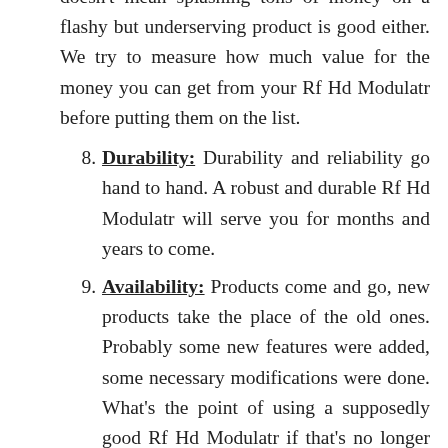doesn't mean splashing tons of money on a flashy but underserving product is good either. We try to measure how much value for the money you can get from your Rf Hd Modulatr before putting them on the list.
8. Durability: Durability and reliability go hand to hand. A robust and durable Rf Hd Modulatr will serve you for months and years to come.
9. Availability: Products come and go, new products take the place of the old ones. Probably some new features were added, some necessary modifications were done. What's the point of using a supposedly good Rf Hd Modulatr if that's no longer continued by the manufacturer? We try to feature products that are up-to-date and sold by at least one reliable